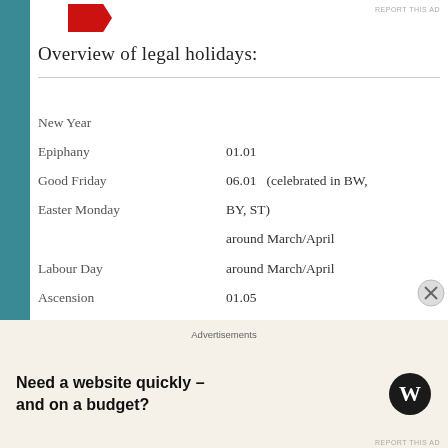REPORT THIS AD
Overview of legal holidays:
| Holiday | Date/Notes |
| --- | --- |
| New Year |  |
| Epiphany | 01.01 |
| Good Friday | 06.01   (celebrated in BW, |
| Easter Monday | BY, ST) |
|  | around March/April |
| Labour Day | around March/April |
| Ascension | 01.05 |
|  | May |
| Whit Monday | May |
| Corpus Christi | May/June (celebrated in |
|  | BW, BY, HE, NW, RP, SL) |
Advertisements
Need a website quickly – and on a budget?
REPORT THIS AD